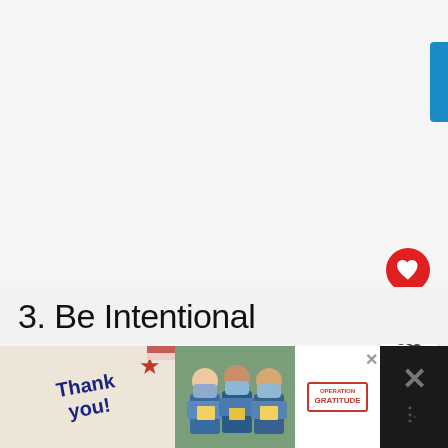[Figure (screenshot): White/light gray empty content area taking up most of the page, with a blue tab on the top right edge, a red heart/like button showing 288 likes, a share button, and a 'What's Next' card showing 'Our First Rental...' with a house thumbnail image.]
3. Be Intentional
If
[Figure (photo): Advertisement banner at the bottom: Operation Gratitude ad with 'Thank you!' handwritten text, photo of masked healthcare workers, and Operation Gratitude logo, with close/X buttons.]